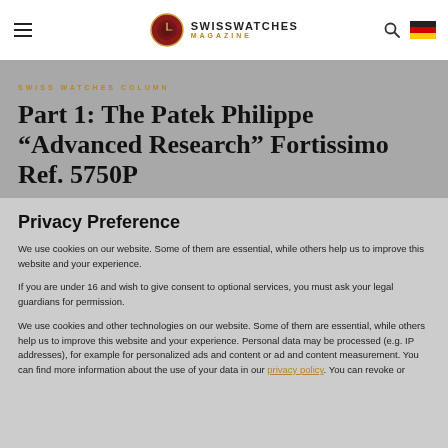SWISSWATCHES MAGAZINE
SWISS WATCHES COLUMN
Part 1: The Patek Philippe “Advanced Research” Fortissimo Ref. 5750P
BY ALEXANDER STILCKEN
17 DECEMBER 2
Privacy Preference
We use cookies on our website. Some of them are essential, while others help us to improve this website and your experience.
If you are under 16 and wish to give consent to optional services, you must ask your legal guardians for permission.
We use cookies and other technologies on our website. Some of them are essential, while others help us to improve this website and your experience. Personal data may be processed (e.g. IP addresses), for example for personalized ads and content or ad and content measurement. You can find more information about the use of your data in our privacy policy. You can revoke or